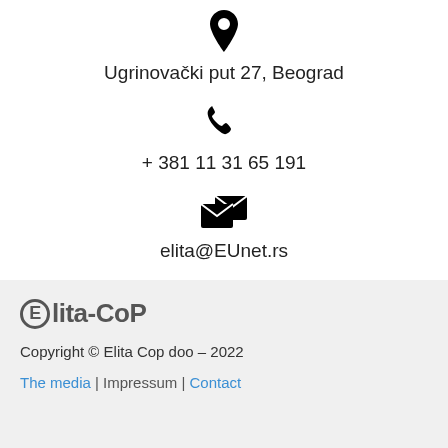[Figure (illustration): Black location pin / map marker icon]
Ugrinovački put 27, Beograd
[Figure (illustration): Black telephone handset icon]
+ 381 11 31 65 191
[Figure (illustration): Black email / mail icon]
elita@EUnet.rs
[Figure (logo): Elita-Cop logo with circled E]
Copyright © Elita Cop doo – 2022
The media | Impressum | Contact